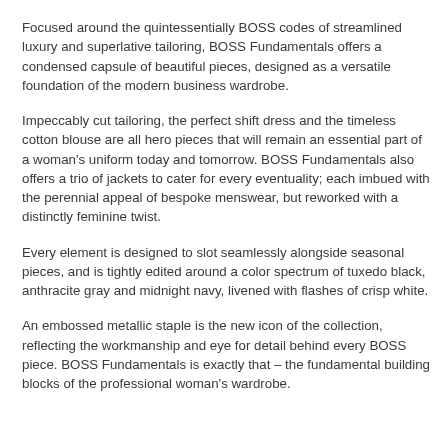Focused around the quintessentially BOSS codes of streamlined luxury and superlative tailoring, BOSS Fundamentals offers a condensed capsule of beautiful pieces, designed as a versatile foundation of the modern business wardrobe.
Impeccably cut tailoring, the perfect shift dress and the timeless cotton blouse are all hero pieces that will remain an essential part of a woman's uniform today and tomorrow. BOSS Fundamentals also offers a trio of jackets to cater for every eventuality; each imbued with the perennial appeal of bespoke menswear, but reworked with a distinctly feminine twist.
Every element is designed to slot seamlessly alongside seasonal pieces, and is tightly edited around a color spectrum of tuxedo black, anthracite gray and midnight navy, livened with flashes of crisp white.
An embossed metallic staple is the new icon of the collection, reflecting the workmanship and eye for detail behind every BOSS piece. BOSS Fundamentals is exactly that – the fundamental building blocks of the professional woman's wardrobe.